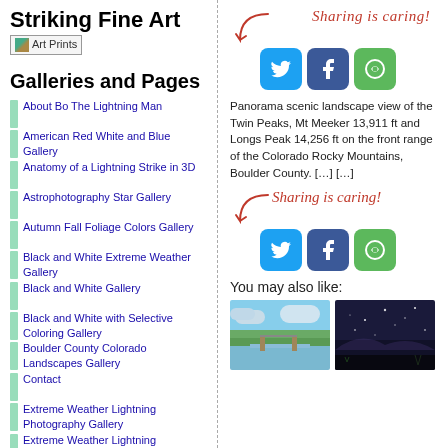Striking Fine Art
[Figure (other): Art Prints badge/image link]
Galleries and Pages
About Bo The Lightning Man
American Red White and Blue Gallery
Anatomy of a Lightning Strike in 3D
Astrophotography Star Gallery
Autumn Fall Foliage Colors Gallery
Black and White Extreme Weather Gallery
Black and White Gallery
Black and White with Selective Coloring Gallery
Boulder County Colorado Landscapes Gallery
Contact
Extreme Weather Lightning Photography Gallery
Extreme Weather Lightning
[Figure (other): Sharing is caring! social sharing buttons - Twitter, Facebook, Share - top instance]
Panorama scenic landscape view of the Twin Peaks, Mt Meeker 13,911 ft and Longs Peak 14,256 ft on the front range of the Colorado Rocky Mountains, Boulder County. […] […]
[Figure (other): Sharing is caring! social sharing buttons - Twitter, Facebook, Share - bottom instance]
You may also like:
[Figure (photo): Landscape/scenic photo thumbnail - mountain/lake scene]
[Figure (photo): Night sky/astrophotography photo thumbnail]